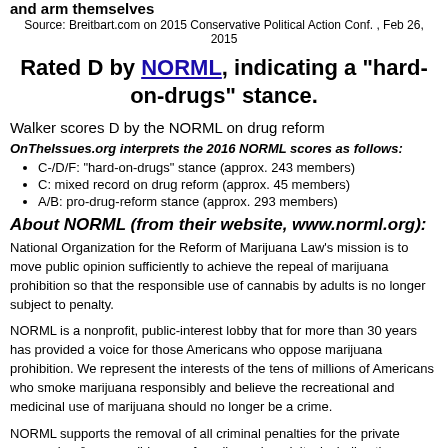and arm themselves
Source: Breitbart.com on 2015 Conservative Political Action Conf. , Feb 26, 2015
Rated D by NORML, indicating a "hard-on-drugs" stance.
Walker scores D by the NORML on drug reform
OnTheIssues.org interprets the 2016 NORML scores as follows:
C-/D/F: "hard-on-drugs" stance (approx. 243 members)
C: mixed record on drug reform (approx. 45 members)
A/B: pro-drug-reform stance (approx. 293 members)
About NORML (from their website, www.norml.org):
National Organization for the Reform of Marijuana Law's mission is to move public opinion sufficiently to achieve the repeal of marijuana prohibition so that the responsible use of cannabis by adults is no longer subject to penalty.
NORML is a nonprofit, public-interest lobby that for more than 30 years has provided a voice for those Americans who oppose marijuana prohibition. We represent the interests of the tens of millions of Americans who smoke marijuana responsibly and believe the recreational and medicinal use of marijuana should no longer be a crime.
NORML supports the removal of all criminal penalties for the private possession & responsible use of marijuana by adults, including the cultivation for personal use, and the casual nonprofit transfers of small amounts. This model is called "decriminalization."
NORML additionally supports the development of a legally controlled market for marijuana, where consumers could purchase it from a safe, legal and regulated